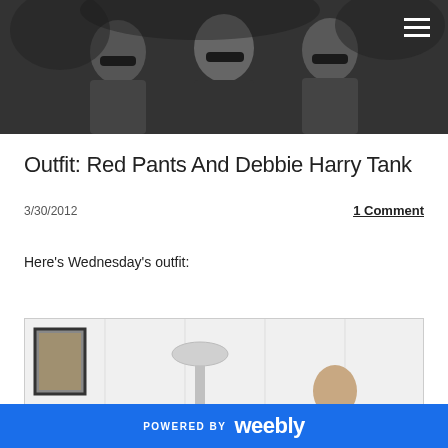[Figure (photo): Black and white photo of three people wearing sunglasses outdoors, with foliage in the background]
Outfit: Red Pants And Debbie Harry Tank
3/30/2012
1 Comment
Here's Wednesday's outfit:
[Figure (photo): A person standing indoors near a floor lamp, with a framed picture visible on the left]
POWERED BY weebly